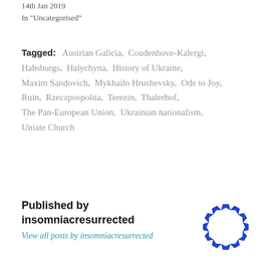14th Jan 2019
In "Uncategorised"
Tagged: Austrian Galicia, Coudenhove-Kalergi, Habsburgs, Halychyna, History of Ukraine, Maxim Sandovich, Mykhailo Hrushevsky, Ode to Joy, Ruin, Rzeczpospolita, Terezin, Thalerhof, The Pan-European Union, Ukrainian nationalism, Uniate Church
Published by insomniacresurrected
View all posts by insomniacresurrected
[Figure (logo): Circular logo made of blue arrow/chevron shapes arranged in a ring]